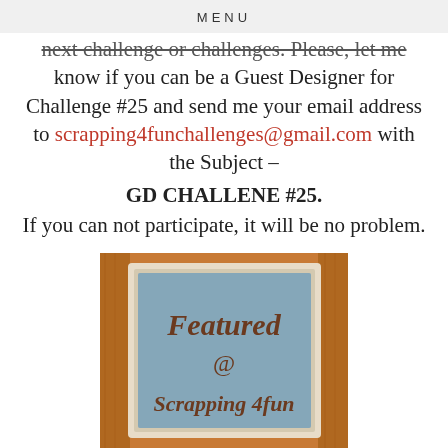MENU
next challenge or challenges. Please, let me know if you can be a Guest Designer for Challenge #25 and send me your email address to scrapping4funchallenges@gmail.com with the Subject – GD CHALLENE #25. If you can not participate, it will be no problem.
[Figure (illustration): A decorative badge/sign image showing 'Featured @ Scrapping 4fun' text on a blue chalkboard-style panel with a rustic wooden frame background]